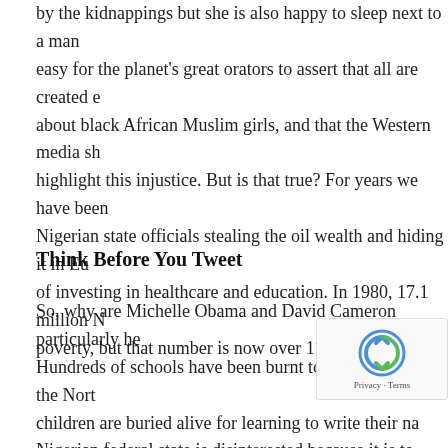by the kidnappings but she is also happy to sleep next to a man easy for the planet's great orators to assert that all are created e about black African Muslim girls, and that the Western media sh highlight this injustice. But is that true? For years we have been Nigerian state officials stealing the oil wealth and hiding it in Eur of investing in healthcare and education. In 1980, 17.1 million N poverty, but that number is now over 110 million.
Think Before You Tweet
So, why are Michelle Obama and David Cameron particularly he Hundreds of schools have been burnt to the ground in the Nort children are buried alive for learning to write their na Nigerian federal state is disinterested because it is to issue is too important to be hijacked by the self-righteous who c